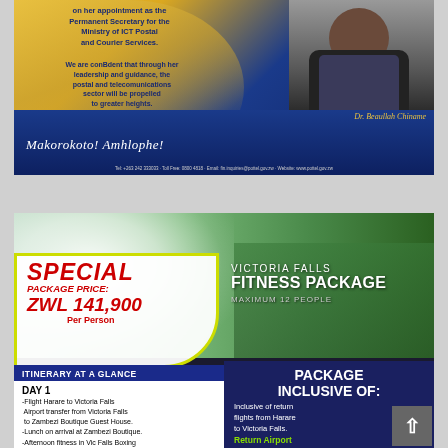[Figure (illustration): Congratulations announcement card for Dr. Beaullah Chiname on appointment as Permanent Secretary for Ministry of ICT Postal and Courier Services. Features blue and gold background, photo of a woman in a black jacket, script text 'Makorokoto! Amhlophe!' and contact details at bottom.]
[Figure (illustration): Victoria Falls Fitness Package advertisement. Features aerial photo of Victoria Falls with mist and green landscape. Special Package Price ZWL 141,900 Per Person. Maximum 12 people. Itinerary at a glance: Day 1 - Flight Harare to Victoria Falls, Airport transfer from Victoria Falls to Zambezi Boutique Guest House, Lunch on arrival at Zambezi Boutique, Afternoon fitness in Vic Falls Boxing Club. Package inclusive of: return flights from Harare to Victoria Falls, Return Airport transfers from...]